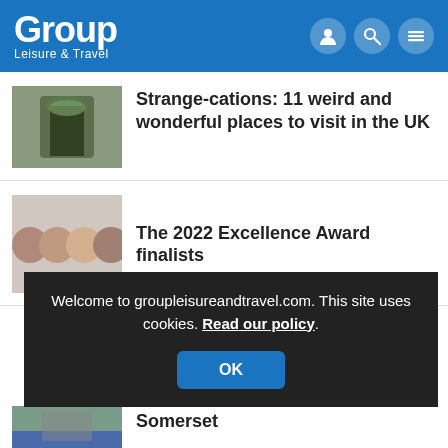Group Leisure & Travel
[Figure (photo): Stone archway entrance with greenery, garden path]
Strange-cations: 11 weird and wonderful places to visit in the UK
[Figure (photo): Four people faces collage - Excellence Award finalists]
The 2022 Excellence Award finalists
Welcome to groupleisureandtravel.com. This site uses cookies. Read our policy.
[Figure (photo): Scenic view of Somerset with bridge and river]
Somerset